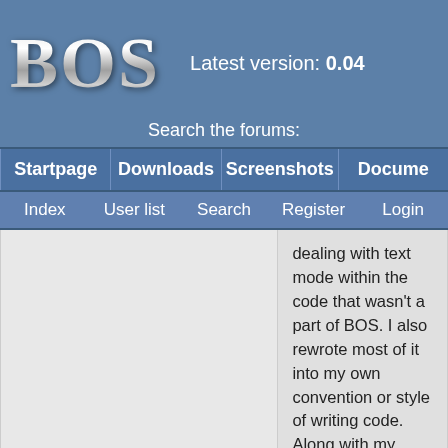BOS — Latest version: 0.04 — Search the forums:
Startpage | Downloads | Screenshots | Docume…
Index | User list | Search | Register | Login
dealing with text mode within the code that wasn't a part of BOS. I also rewrote most of it into my own convention or style of writing code. Along with my extensive commenting, in order to make sense.